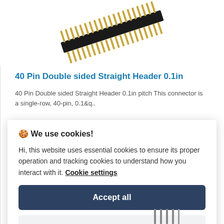[Figure (photo): 40-pin double-sided straight header connector component shown at an angle, gold and black colored, on white background]
40 Pin Double sided Straight Header 0.1in
40 Pin Double sided Straight Header 0.1in pitch This connector is a single-row, 40-pin, 0.1&q..
🍪 We use cookies!
Hi, this website uses essential cookies to ensure its proper operation and tracking cookies to understand how you interact with it. Cookie settings
Accept all
Reject all
[Figure (photo): Partial view of another electronic component at the bottom of the page]